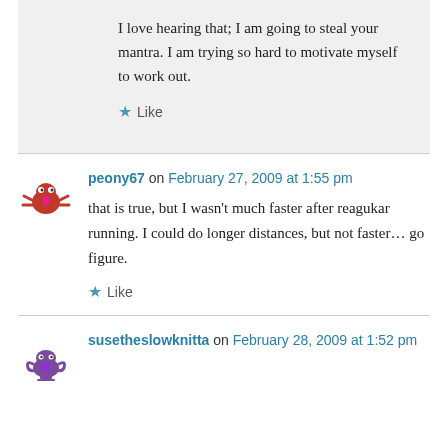I love hearing that; I am going to steal your mantra. I am trying so hard to motivate myself to work out.
Like
peony67 on February 27, 2009 at 1:55 pm
that is true, but I wasn't much faster after reagukar running. I could do longer distances, but not faster… go figure.
Like
susetheslowknitta on February 28, 2009 at 1:52 pm